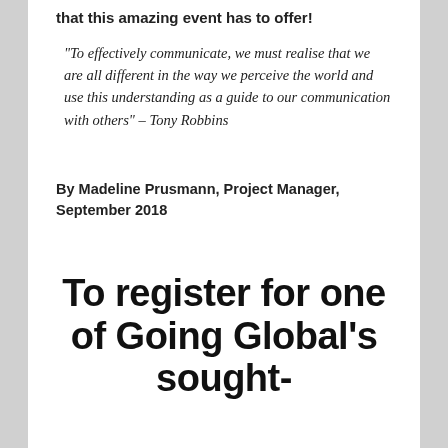that this amazing event has to offer!
“To effectively communicate, we must realise that we are all different in the way we perceive the world and use this understanding as a guide to our communication with others” – Tony Robbins
By Madeline Prusmann, Project Manager, September 2018
To register for one of Going Global’s sought-